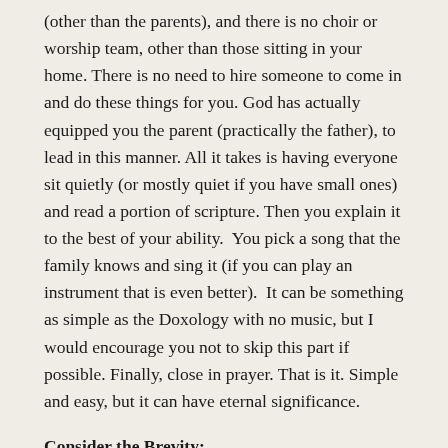(other than the parents), and there is no choir or worship team, other than those sitting in your home. There is no need to hire someone to come in and do these things for you. God has actually equipped you the parent (practically the father), to lead in this manner. All it takes is having everyone sit quietly (or mostly quiet if you have small ones) and read a portion of scripture. Then you explain it to the best of your ability.  You pick a song that the family knows and sing it (if you can play an instrument that is even better).  It can be something as simple as the Doxology with no music, but I would encourage you not to skip this part if possible. Finally, close in prayer. That is it. Simple and easy, but it can have eternal significance.
Consider the Brevity:
Your average church service lasts about an hour. You may think of your family worship like a small church service on Sunday, however much shorter. You should want family